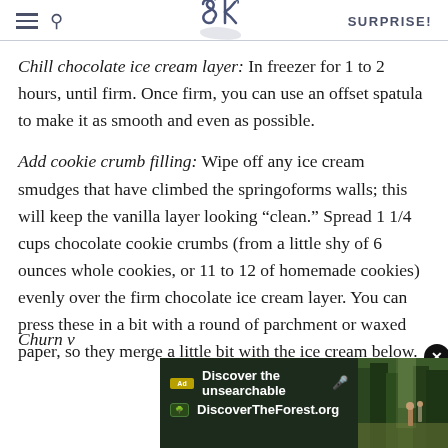SK | SURPRISE!
Chill chocolate ice cream layer: In freezer for 1 to 2 hours, until firm. Once firm, you can use an offset spatula to make it as smooth and even as possible.
Add cookie crumb filling: Wipe off any ice cream smudges that have climbed the springoforms walls; this will keep the vanilla layer looking "clean." Spread 1 1/4 cups chocolate cookie crumbs (from a little shy of 6 ounces whole cookies, or 11 to 12 of homemade cookies) evenly over the firm chocolate ice cream layer. You can press these in a bit with a round of parchment or waxed paper, so they merge a little bit with the ice cream below.
Churn v
[Figure (screenshot): Advertisement banner for DiscoverTheForest.org with forest photo background showing hikers]